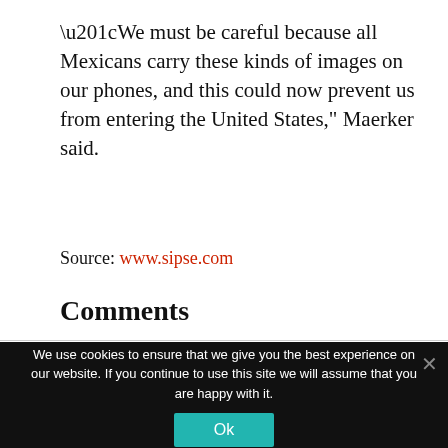“We must be careful because all Mexicans carry these kinds of images on our phones, and this could now prevent us from entering the United States,” Maerker said.
Source: www.sipse.com
Comments
We use cookies to ensure that we give you the best experience on our website. If you continue to use this site we will assume that you are happy with it.